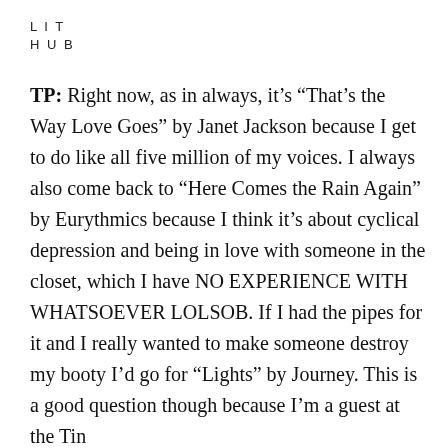LIT
HUB
TP: Right now, as in always, it's “That’s the Way Love Goes” by Janet Jackson because I get to do like all five million of my voices. I always also come back to “Here Comes the Rain Again” by Eurythmics because I think it’s about cyclical depression and being in love with someone in the closet, which I have NO EXPERIENCE WITH WHATSOEVER LOLSOB. If I had the pipes for it and I really wanted to make someone destroy my booty I’d go for “Lights” by Journey. This is a good question though because I’m a guest at the Tin